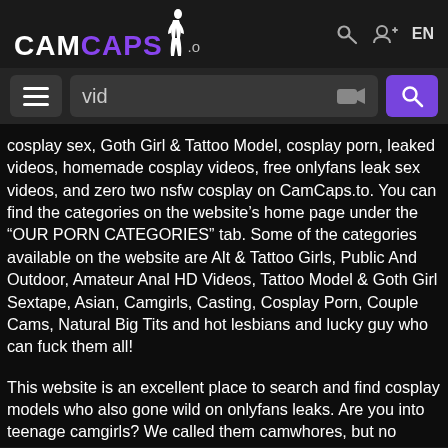CAMCAPS.to
cosplay sex, Goth Girl & Tattoo Model, cosplay porn, leaked videos, homemade cosplay videos, free onlyfans leak sex videos, and zero two nsfw cosplay on CamCaps.to. You can find the categories on the website’s home page under the "OUR PORN CATEGORIES" tab. Some of the categories available on the website are Alt & Tattoo Girls, Public And Outdoor, Amateur Anal HD Videos, Tattoo Model & Goth Girl Sextape, Asian, Camgirls, Casting, Cosplay Porn, Couple Cams, Natural Big Tits and hot lesbians and lucky guy who can fuck them all!
This website is an excellent place to search and find cosplay models who also gone wild on onyfans leaks. Are you into teenage camgirls? We called them camwhores, but no